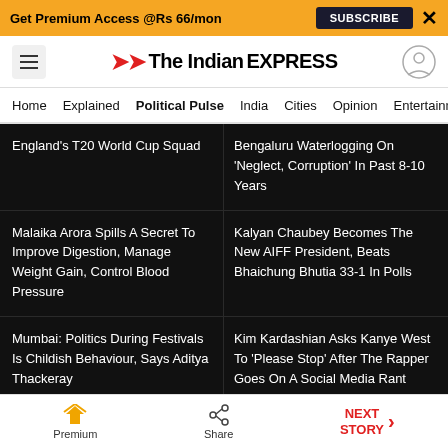Get Premium Access @Rs 66/mon | SUBSCRIBE
The Indian EXPRESS
Home | Explained | Political Pulse | India | Cities | Opinion | Entertainment
England's T20 World Cup Squad
Bengaluru Waterlogging On 'Neglect, Corruption' In Past 8-10 Years
Malaika Arora Spills A Secret To Improve Digestion, Manage Weight Gain, Control Blood Pressure
Kalyan Chaubey Becomes The New AIFF President, Beats Bhaichung Bhutia 33-1 In Polls
Mumbai: Politics During Festivals Is Childish Behaviour, Says Aditya Thackeray
Kim Kardashian Asks Kanye West To 'Please Stop' After The Rapper Goes On A Social Media Rant
FOLLOW US
Premium | Share | NEXT STORY